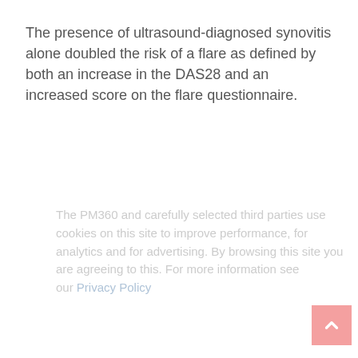The presence of ultrasound-diagnosed synovitis alone doubled the risk of a flare as defined by both an increase in the DAS28 and an increased score on the flare questionnaire.
[Figure (screenshot): Cookie consent overlay on a dark background covering the lower portion of the page. Contains text about PM360 and third parties using cookies, a Privacy Policy link, and a Close button. Partially visible text on the right side reads 't risk', 'almost', 'ng in', 'e (HR'.]